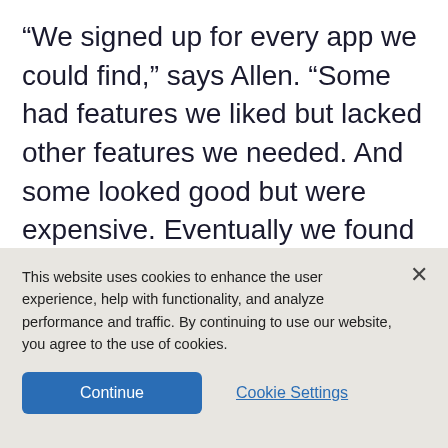“We signed up for every app we could find,” says Allen. “Some had features we liked but lacked other features we needed. And some looked good but were expensive. Eventually we found the RingCentral app, and that ended our search. It was great for collaborating, for messaging one-on-one or with a team, and it integrated easily with
This website uses cookies to enhance the user experience, help with functionality, and analyze performance and traffic. By continuing to use our website, you agree to the use of cookies.
Continue
Cookie Settings